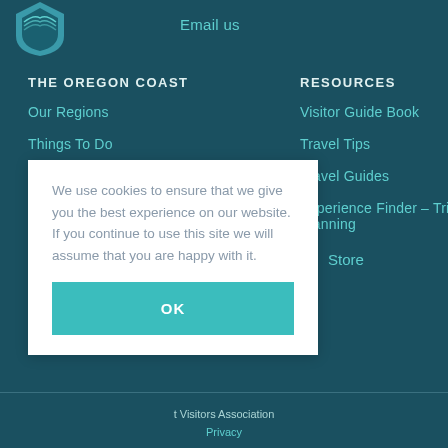[Figure (logo): Oregon Coast logo shield shape with teal color]
Email us
THE OREGON COAST
Our Regions
Things To Do
Places To Stay
RESOURCES
Visitor Guide Book
Travel Tips
Travel Guides
Experience Finder – Trip Planning
Store
We use cookies to ensure that we give you the best experience on our website. If you continue to use this site we will assume that you are happy with it.
OK
t Visitors Association   Privacy